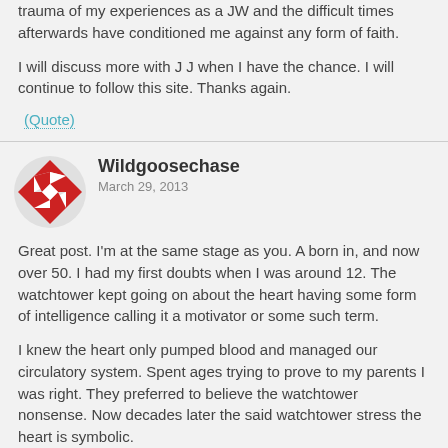trauma of my experiences as a JW and the difficult times afterwards have conditioned me against any form of faith.
I will discuss more with J J when I have the chance. I will continue to follow this site. Thanks again.
(Quote)
Wildgoosechase
March 29, 2013
Great post. I'm at the same stage as you. A born in, and now over 50. I had my first doubts when I was around 12. The watchtower kept going on about the heart having some form of intelligence calling it a motivator or some such term.
I knew the heart only pumped blood and managed our circulatory system. Spent ages trying to prove to my parents I was right. They preferred to believe the watchtower nonsense. Now decades later the said watchtower stress the heart is symbolic.
At my young age I wanted to know where in the bible does it mention Charles Taze Russell and an organisation based in New York. My doubts are now firm beliefs that